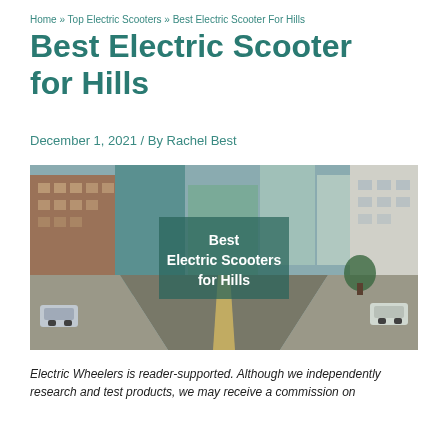Home » Top Electric Scooters » Best Electric Scooter For Hills
Best Electric Scooter for Hills
December 1, 2021 / By Rachel Best
[Figure (photo): Street-level view of a hilly city street with tall buildings on both sides, cars parked along the road. Overlaid centered text box reads: Best Electric Scooters for Hills]
Electric Wheelers is reader-supported. Although we independently research and test products, we may receive a commission on